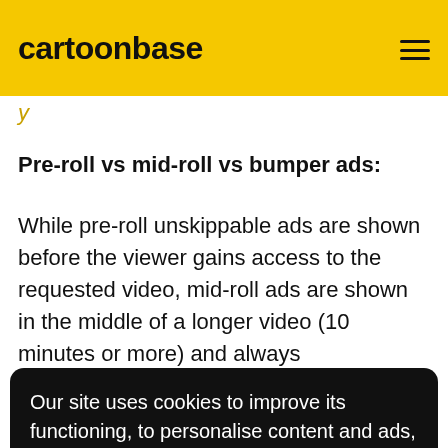cartoonbase
y
Pre-roll vs mid-roll vs bumper ads:
While pre-roll unskippable ads are shown before the viewer gains access to the requested video, mid-roll ads are shown in the middle of a longer video (10 minutes or more) and always
Our site uses cookies to improve its functioning, to personalise content and ads, and to analyse our traffic. Read our cookie policy

Manage cookies   Accept cookies
While these two formats have the standard